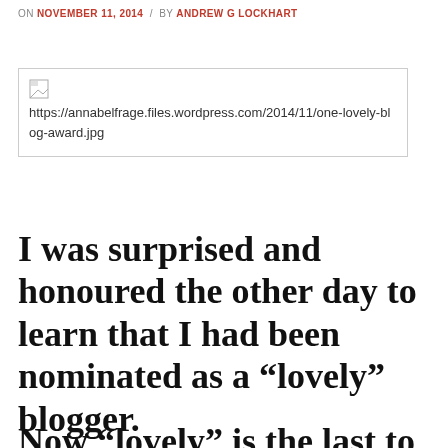ON NOVEMBER 11, 2014 / BY ANDREW G LOCKHART
[Figure (other): Broken image placeholder showing URL: https://annabelfrage.files.wordpress.com/2014/11/one-lovely-blog-award.jpg]
I was surprised and honoured the other day to learn that I had been nominated as a “lovely” blogger.
Now “lovely” is the last to...